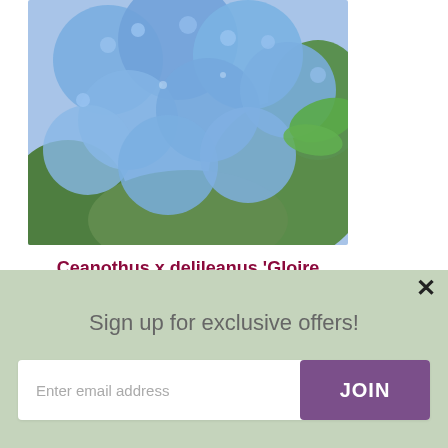[Figure (photo): Close-up photo of Ceanothus x delileanus 'Gloire de Versailles' showing clusters of blue flowers with green leaves]
Ceanothus x delileanus 'Gloire de Versailles'
★★★★☆ 12 Reviews
Sun
Grows in:
shade: FullBorders
Sign up for exclusive offers!
Enter email address
JOIN